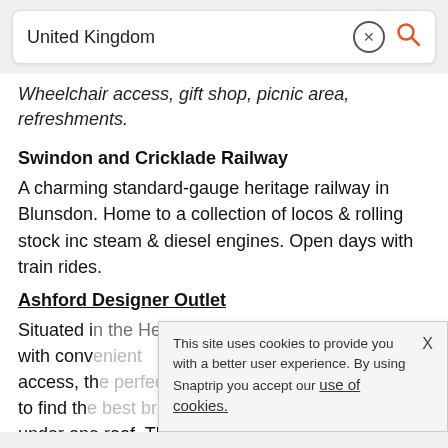[Figure (screenshot): Search bar with text 'United Kingdom', an X/clear button, and an orange search icon on the right]
Wheelchair access, gift shop, picnic area, refreshments.
Swindon and Cricklade Railway
A charming standard-gauge heritage railway in Blunsdon. Home to a collection of locos & rolling stock inc steam & diesel engines. Open days with train rides.
Ashford Designer Outlet
Situated in the Heart of Kent and with conv access, th to find th under one roof. There's parking and a variety of places to eat and drink.
This site uses cookies to provide you with a better user experience. By using Snaptrip you accept our use of cookies.